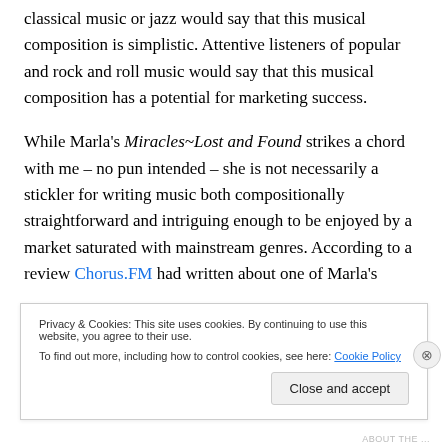classical music or jazz would say that this musical composition is simplistic. Attentive listeners of popular and rock and roll music would say that this musical composition has a potential for marketing success.

While Marla's Miracles~Lost and Found strikes a chord with me – no pun intended – she is not necessarily a stickler for writing music both compositionally straightforward and intriguing enough to be enjoyed by a market saturated with mainstream genres. According to a review Chorus.FM had written about one of Marla's
Privacy & Cookies: This site uses cookies. By continuing to use this website, you agree to their use.
To find out more, including how to control cookies, see here: Cookie Policy
Close and accept
ABOUT THE ...